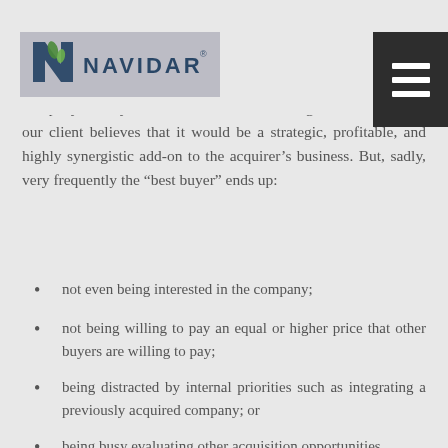hope that the buyer would be the ultimate winner in the sale process. By “best buyer” or “most logical buyer” we are referring to the idea that a particular buyer is viewed by the company’s management as being an ideal acquirer of the selling company for any number of reasons, including, for instance, that our client believes that it would be a strategic, profitable, and highly synergistic add-on to the acquirer’s business. But, sadly, very frequently the “best buyer” ends up:
not even being interested in the company;
not being willing to pay an equal or higher price that other buyers are willing to pay;
being distracted by internal priorities such as integrating a previously acquired company; or
being busy evaluating other acquisition opportunities.